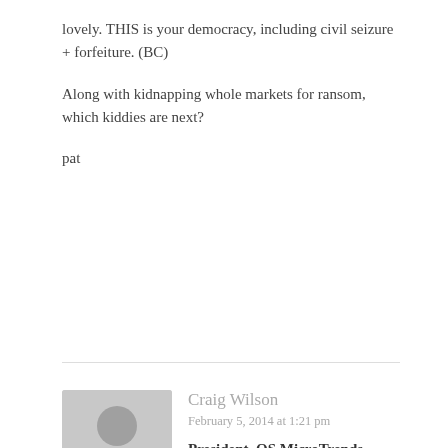lovely. THIS is your democracy, including civil seizure + forfeiture. (BC)

Along with kidnapping whole markets for ransom, which kiddies are next?

pat
Craig Wilson
February 5, 2014 at 1:21 pm

President, OS MicroTrends
The issue of oversight is critical – but to date the discussion has focused almost entirely on specific cases, rather than an accountable framework for addressing perceived needs for digital surveillance of national communications, and what a citizen expects its government to do, and not do, in persuing this important issue.